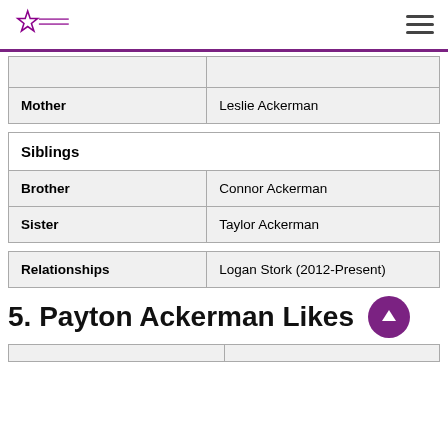The Celebrity Birthday (logo) — hamburger menu
|  |  |
| Mother | Leslie Ackerman |
| ['Siblings', ''] |
| --- |
| Brother | Connor Ackerman |
| Sister | Taylor Ackerman |
| Relationships | Logan Stork (2012-Present) |
5. Payton Ackerman Likes
|  |  |